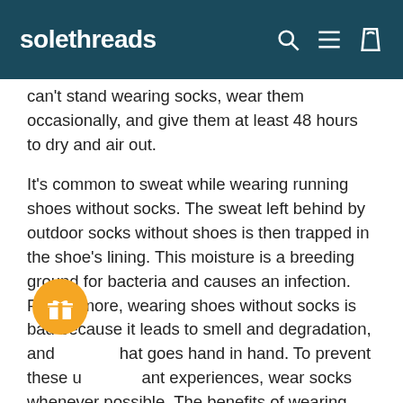solethreads
can't stand wearing socks, wear them occasionally, and give them at least 48 hours to dry and air out.
It's common to sweat while wearing running shoes without socks. The sweat left behind by outdoor socks without shoes is then trapped in the shoe's lining. This moisture is a breeding ground for bacteria and causes an infection. Furthermore, wearing shoes without socks is bad because it leads to smell and degradation, and that goes hand in hand. To prevent these unpleasant experiences, wear socks whenever possible. The benefits of wearing socks are many. Aside from the comfort, socks will slow